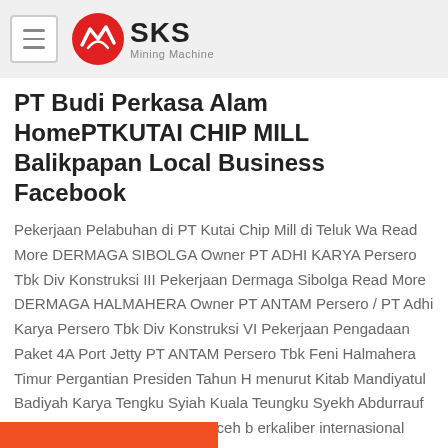SKS Mining Machine
PT Budi Perkasa Alam HomePTKUTAI CHIP MILL Balikpapan Local Business Facebook
Pekerjaan Pelabuhan di PT Kutai Chip Mill di Teluk Wa Read More DERMAGA SIBOLGA Owner PT ADHI KARYA Persero Tbk Div Konstruksi III Pekerjaan Dermaga Sibolga Read More DERMAGA HALMAHERA Owner PT ANTAM Persero / PT Adhi Karya Persero Tbk Div Konstruksi VI Pekerjaan Pengadaan Paket 4A Port Jetty PT ANTAM Persero Tbk Feni Halmahera Timur Pergantian Presiden Tahun H menurut Kitab Mandiyatul Badiyah Karya Tengku Syiah Kuala Teungku Syekh Abdurrauf As Singkily ulama besar dari Aceh b erkaliber internasional